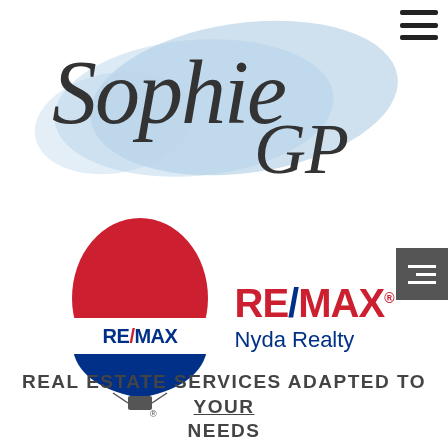[Figure (logo): Sophie GP handwritten script logo with light blue brushstroke background]
[Figure (logo): RE/MAX hot air balloon logo alongside RE/MAX wordmark with 'Nyda Realty' text]
REAL ESTATE SERVICES ADAPTED TO YOUR NEEDS